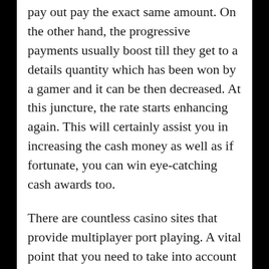pay out pay the exact same amount. On the other hand, the progressive payments usually boost till they get to a details quantity which has been won by a gamer and it can be then decreased. At this juncture, the rate starts enhancing again. This will certainly assist you in increasing the cash money as well as if fortunate, you can win eye-catching cash awards too.
There are countless casino sites that provide multiplayer port playing. A vital point that you need to take into account while playing progressive ports online is that most casinos may ask you to bet the optimum wager so as to boost your chances of winning jdb the video game. Nevertheless, among the common advantages that all people agree is that they can play slots on-line from the comforts of their house. There are